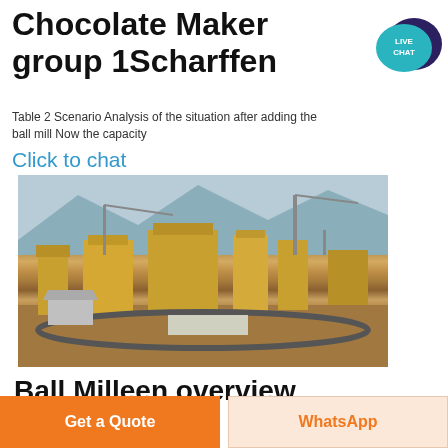Chocolate Maker group 1Scharffen
Table 2 Scenario Analysis of the situation after adding the ball mill Now the capacity
Click to chat
[Figure (photo): Aerial view of a mining/industrial plant with cranes, yellow processing structures, conveyor belts, and surrounding mountainous terrain.]
Ball Milleen overview
Get a Quote
WhatsApp